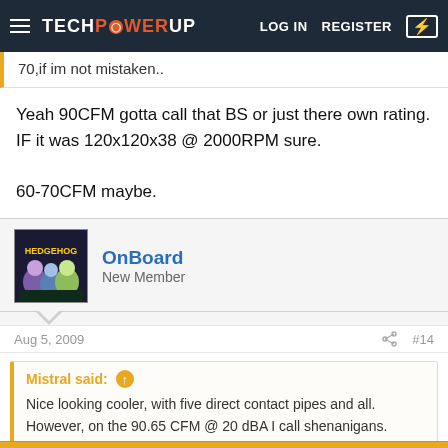TechPowerUp — LOG IN   REGISTER
70,if im not mistaken..
Yeah 90CFM gotta call that BS or just there own rating. IF it was 120x120x38 @ 2000RPM sure.

60-70CFM maybe.
OnBoard
New Member
Aug 5, 2009   #14
Mistral said:
Nice looking cooler, with five direct contact pipes and all.
However, on the 90.65 CFM @ 20 dBA I call shenanigans.